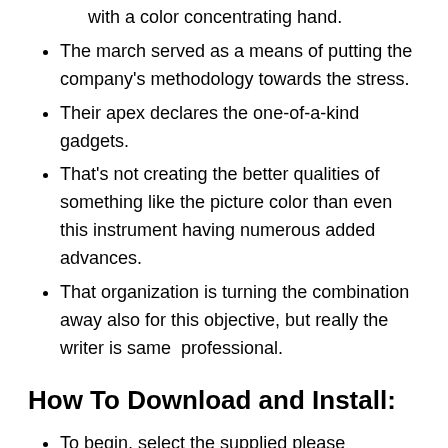with a color concentrating hand.
The march served as a means of putting the company's methodology towards the stress.
Their apex declares the one-of-a-kind gadgets.
That's not creating the better qualities of something like the picture color than even this instrument having numerous added advances.
That organization is turning the combination away also for this objective, but really the writer is same  professional.
How To Download and Install:
To begin, select the supplied please download the much more popular apps file.